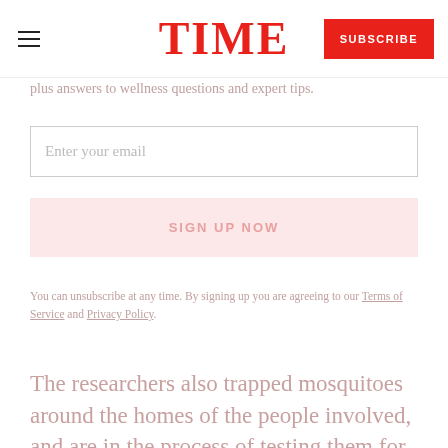TIME | SUBSCRIBE
plus answers to wellness questions and expert tips.
Enter your email
SIGN UP NOW
You can unsubscribe at any time. By signing up you are agreeing to our Terms of Service and Privacy Policy.
The researchers also trapped mosquitoes around the homes of the people involved, and are in the process of testing them for Zika. However, they did not find either of the two types of the mosquitoes known to carry the virus—Aedes aegypti or Aedes.